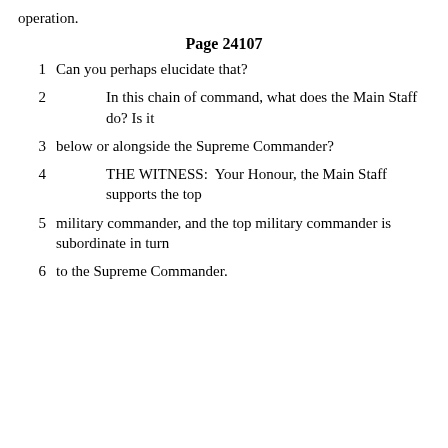operation.
Page 24107
1    Can you perhaps elucidate that?
2    In this chain of command, what does the Main Staff do? Is it
3    below or alongside the Supreme Commander?
4    THE WITNESS:  Your Honour, the Main Staff supports the top
5    military commander, and the top military commander is subordinate in turn
6    to the Supreme Commander.